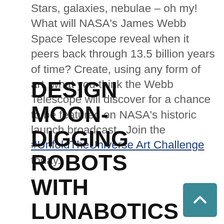Stars, galaxies, nebulae – oh my! What will NASA's James Webb Space Telescope reveal when it peers back through 13.5 billion years of time? Create, using any form of art, what you think the Webb Telescope will discover for a chance to be featured on NASA's historic launch broadcast.  Join the #UnfoldTheUniverse Art Challenge today.
Deadline for Submissions is December 18, 2021.
DESIGN MOON-DIGGING ROBOTS WITH LUNABOTICS